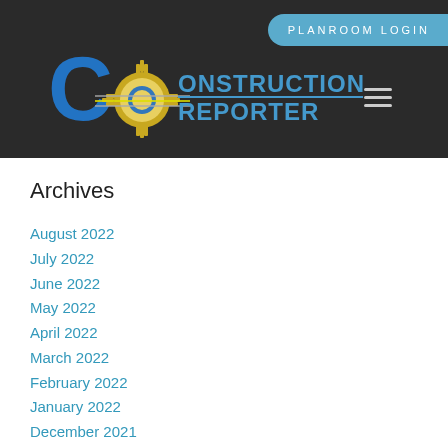PLANROOM LOGIN
[Figure (logo): Construction Reporter logo with stylized C and New Mexico zia symbol]
Archives
August 2022
July 2022
June 2022
May 2022
April 2022
March 2022
February 2022
January 2022
December 2021
November 2021